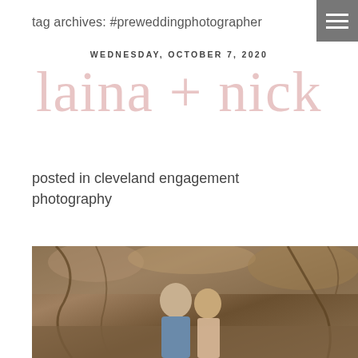tag archives: #preweddingphotographer
WEDNESDAY, OCTOBER 7, 2020
laina + nick
posted in cleveland engagement photography
[Figure (photo): An engaged couple standing outdoors in a rocky/wooded setting. A man in a blue chambray shirt and a woman are posed together with exposed roots and earth tones in the background.]